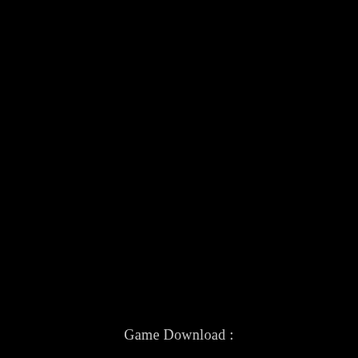[Figure (photo): Mostly black page with very dark, barely visible imagery in the background. The page is predominantly black.]
Game Download :